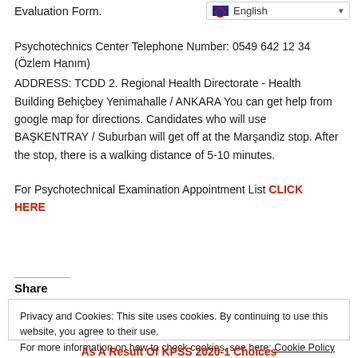Evaluation Form.
[Figure (screenshot): English language selector dropdown button with UK flag icon]
Psychotechnics Center Telephone Number: 0549 642 12 34 (Özlem Hanım)
ADDRESS: TCDD 2. Regional Health Directorate - Health Building Behiçbey Yenimahalle / ANKARA You can get help from google map for directions. Candidates who will use BAŞKENTRAY / Suburban will get off at the Marşandiz stop. After the stop, there is a walking distance of 5-10 minutes.
For Psychotechnical Examination Appointment List CLICK HERE
Share
Privacy and Cookies: This site uses cookies. By continuing to use this website, you agree to their use.
For more information on how to check cookies, see here: Cookie Policy
OK
As A Result Of KPSS 2020-1 Choices